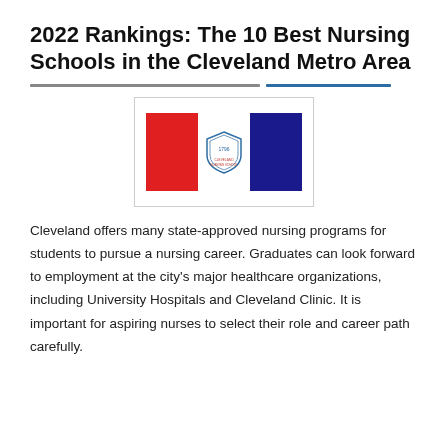2022 Rankings: The 10 Best Nursing Schools in the Cleveland Metro Area
[Figure (logo): Cleveland nursing school logo with red rectangle on left, shield emblem in center, and dark blue rectangle on right, within a bordered box]
Cleveland offers many state-approved nursing programs for students to pursue a nursing career. Graduates can look forward to employment at the city's major healthcare organizations, including University Hospitals and Cleveland Clinic. It is important for aspiring nurses to select their role and career path carefully.